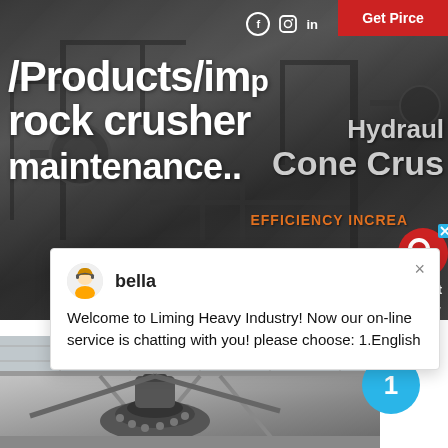[Figure (screenshot): Website screenshot showing a heavy industry equipment product page for Liming Heavy Industry. The page shows a dark industrial background with a rock crusher, overlaid with large white text reading '/Products/impact rock crusher maintenance...' and on the right side 'Hydraulic Cone Crusher'. A red 'Get Price' button is visible in the top right. Social media icons (Facebook, Instagram, LinkedIn) appear at the top. An orange text reads 'EFFICIENCY INCREA...' A live chat popup from 'bella' reads 'Welcome to Liming Heavy Industry! Now our on-line service is chatting with you! please choose: 1.English'. A blue circle with '1' appears at the lower right. At the bottom is a photo of industrial machinery (crusher equipment) in a factory setting.]
/Products/impact rock crusher maintenance...
Hydraulic Cone Crusher
EFFICIENCY INCREA
bella
Welcome to Liming Heavy Industry! Now our on-line service is chatting with you! please choose: 1.English